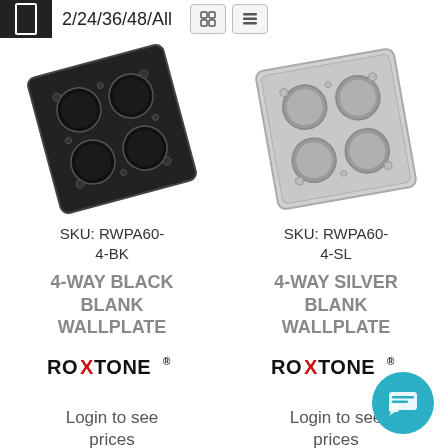2/24/36/48/All
[Figure (photo): 4-Way Black Blank Wallplate product photo (black metal plate at an angle with 4 circular cutouts arranged in a 2x2 grid)]
SKU: RWPA60-4-BK
4-WAY BLACK BLANK WALLPLATE
[Figure (logo): Roxtone brand logo in black with red X]
Login to see prices
[Figure (photo): 4-Way Silver Blank Wallplate product photo (silver/steel metal plate at an angle with 4 circular cutouts arranged in a 2x2 grid)]
SKU: RWPA60-4-SL
4-WAY SILVER BLANK WALLPLATE
[Figure (logo): Roxtone brand logo in black with red X]
Login to see prices